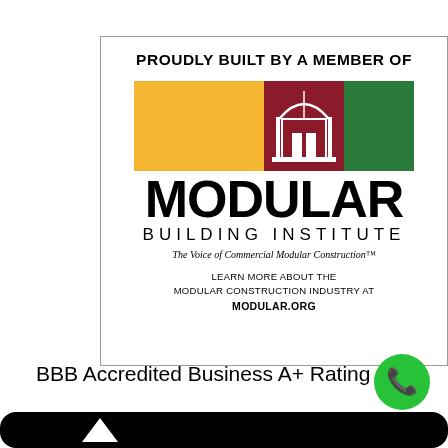[Figure (logo): Modular Building Institute logo with yellow, red/maroon center emblem, and green color blocks, with 'MODULAR BUILDING INSTITUTE' text and tagline 'The Voice of Commercial Modular Construction™'. Above the logo reads 'PROUDLY BUILT BY A MEMBER OF'. Below: 'LEARN MORE ABOUT THE MODULAR CONSTRUCTION INDUSTRY AT MODULAR.ORG']
BBB Accredited Business A+ Rating
[Figure (illustration): Green phone icon circle button on right side, and bottom black rounded bar with white arrow]